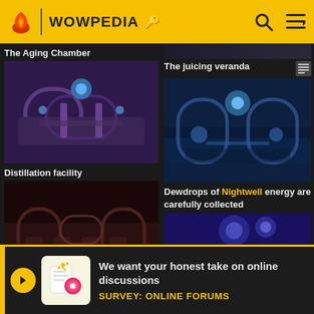WOWPEDIA
The Aging Chamber
[Figure (screenshot): Screenshot of The Aging Chamber location in World of Warcraft - purple toned dungeon with arches and glowing blue elements]
Distillation facility
[Figure (screenshot): Screenshot of Distillation facility - dark red/brown interior dungeon room with barrels and arches]
The juicing veranda
[Figure (screenshot): Screenshot of The juicing veranda - blue water filled area with glowing elements and stone architecture]
Dewdrops of Nightwell energy are carefully collected
[Figure (screenshot): Screenshot of Dewdrops of Nightwell energy scene - blue glowing barrels and purple magical environment]
We want your honest take on online discussions
SURVEY: ONLINE FORUMS